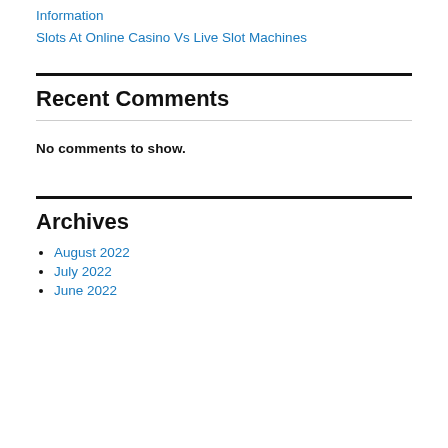Information
Slots At Online Casino Vs Live Slot Machines
Recent Comments
No comments to show.
Archives
August 2022
July 2022
June 2022